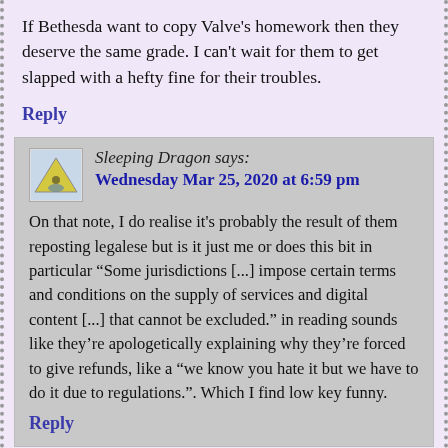If Bethesda want to copy Valve's homework then they deserve the same grade. I can't wait for them to get slapped with a hefty fine for their troubles.
Reply
Sleeping Dragon says: Wednesday Mar 25, 2020 at 6:59 pm
On that note, I do realise it's probably the result of them reposting legalese but is it just me or does this bit in particular “Some jurisdictions [...] impose certain terms and conditions on the supply of services and digital content [...] that cannot be excluded.” in reading sounds like they’re apologetically explaining why they’re forced to give refunds, like a “we know you hate it but we have to do it due to regulations.”. Which I find low key funny.
Reply